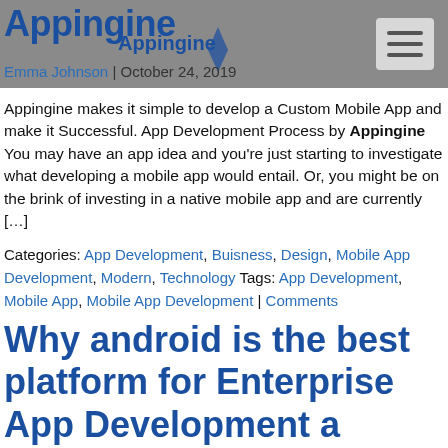Appingine
Emma Johnson | October 24, 2019
Appingine makes it simple to develop a Custom Mobile App and make it Successful. App Development Process by Appingine You may have an app idea and you’re just starting to investigate what developing a mobile app would entail. Or, you might be on the brink of investing in a native mobile app and are currently […]
Categories: App Development, Buisness, Design, Mobile App Development, Modern, Technology Tags: App Development, Mobile App, Mobile App Development | Comments
Why android is the best platform for Enterprise App Development a complete guide.